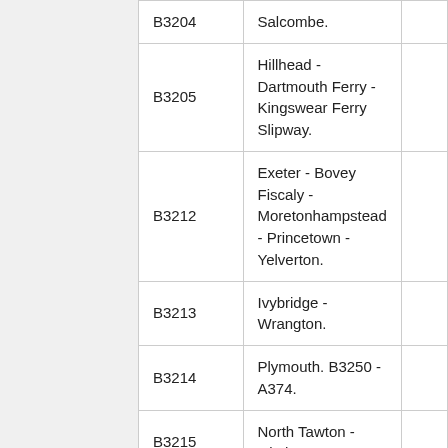| Road | Route |  |
| --- | --- | --- |
| B3204 | Salcombe. |  |
| B3205 | Hillhead - Dartmouth Ferry - Kingswear Ferry Slipway. |  |
| B3212 | Exeter - Bovey Fiscaly - Moretonhampstead - Princetown - Yelverton. |  |
| B3213 | Ivybridge - Wrangton. |  |
| B3214 | Plymouth. B3250 - A374. |  |
| B3215 | North Tawton - Okehampton. |  |
| B3216 | Bassets Cross - Jacobstowe. |  |
| B3217 | Okehampton - Dolton - Atherington - A377. |  |